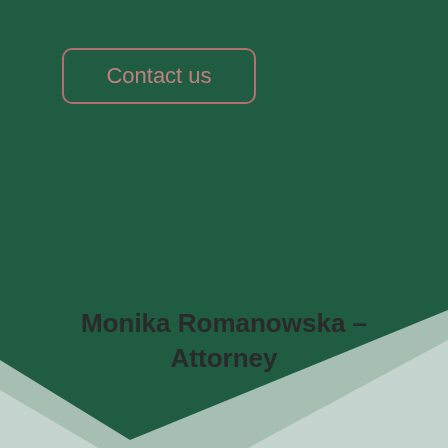[Figure (illustration): Dark green angled panel occupying the upper portion of the page, with a lighter sage/mint green background below. The green panel is tilted diagonally from upper-left to lower-right, creating a layered geometric design.]
Contact us
Monika Romanowska – Attorney